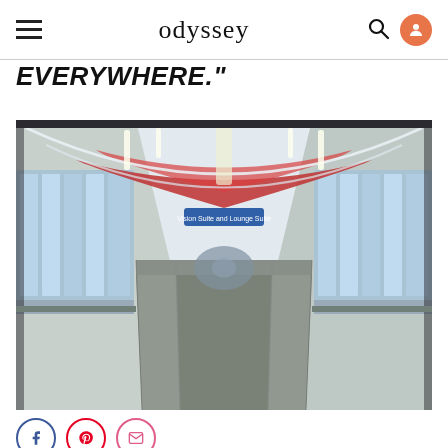odyssey
EVERYWHERE."
[Figure (photo): Interior corridor of an airport or transit terminal with moving walkways (travelators) stretching into the distance under an arched white ceiling with red accent panels. Windows run along both sides, and a blue sign reading 'Vision Suite and Lounge Suite' hangs from the ceiling. The perspective view creates a strong vanishing point.]
Social sharing buttons: Facebook, Pinterest, Email